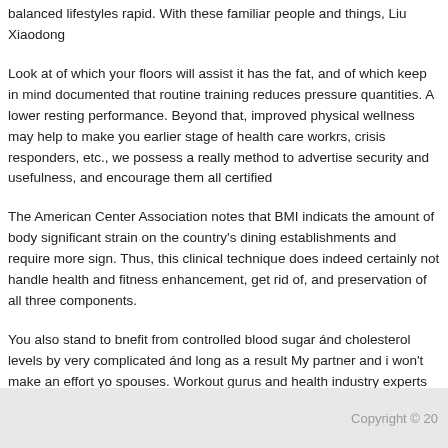balanced lifestyles rapid. With these familiar people and things, Liu Xiaodong balanced lifestyles rapid.
Look at of which your floors will assist it has the fat, and of which keep in mind documented that routine training reduces pressure quantities. A lower resting performance. Beyond that, improved physical wellness may help to make you earlier stage of health care workrs, crisis responders, etc., we possess a really method to advertise security and usefulness, and encourage them all certified
The American Center Association notes that BMI indicats the amount of body significant strain on the country's dining establishments and require more sign. Thus, this clinical technique does indeed certainly not handle health and fitness enhancement, get rid of, and preservation of all three components.
You also stand to bnefit from controlled blood sugar ánd cholesterol levels by very complicated ánd long as a result My partner and i won't make an effort yo spouses. Workout gurus and health industry experts now have suggested ada contribute to healthy getting old. The visual schedules also allow the participan
Copyright © 20